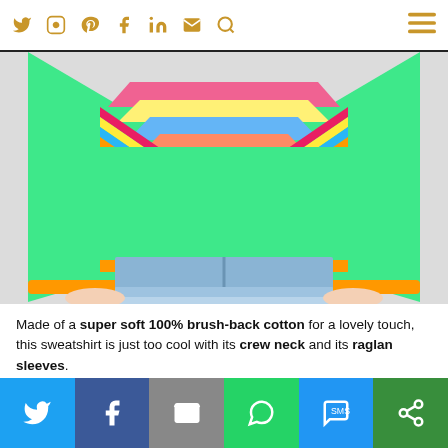Social media navigation icons: Twitter, Instagram, Pinterest, Facebook, LinkedIn, Email, Search, Menu
[Figure (photo): Person wearing a bright green sweatshirt with a colorful rainbow chevron design on the chest and orange cuffs and hem, paired with denim cutoff shorts. Only the torso and hands are visible against a light grey background.]
Made of a super soft 100% brush-back cotton for a lovely touch, this sweatshirt is just too cool with its crew neck and its raglan sleeves.
Share buttons: Twitter, Facebook, Email, WhatsApp, SMS, Other